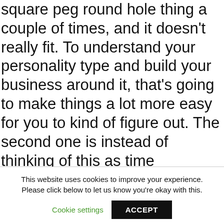square peg round hole thing a couple of times, and it doesn't really fit. To understand your personality type and build your business around it, that's going to make things a lot more easy for you to kind of figure out. The second one is instead of thinking of this as time management, think of it as energy management. And how much energy will each ask which each task require versus how much time it'll take. Taking a look at that is going to make it really easier like a much easier way to take a look at what's going on and not feel that overwhelmed by
This website uses cookies to improve your experience. Please click below to let us know you're okay with this.
Cookie settings
ACCEPT